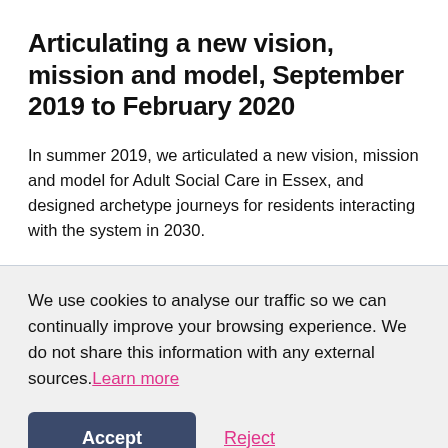Articulating a new vision, mission and model, September 2019 to February 2020
In summer 2019, we articulated a new vision, mission and model for Adult Social Care in Essex, and designed archetype journeys for residents interacting with the system in 2030.
We use cookies to analyse our traffic so we can continually improve your browsing experience. We do not share this information with any external sources. Learn more